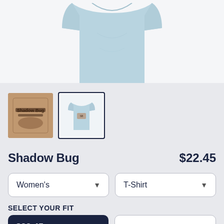[Figure (photo): Light blue women's fitted t-shirt shown from above/front angle, partially cropped, on white background]
[Figure (photo): Thumbnail 1: artistic/graphic design image on dark background]
[Figure (photo): Thumbnail 2: light blue women's t-shirt with graphic, selected (highlighted border)]
Shadow Bug
$22.45
Women's
T-Shirt
SELECT YOUR FIT
$22.45 Fitted
$28.95 Triblend